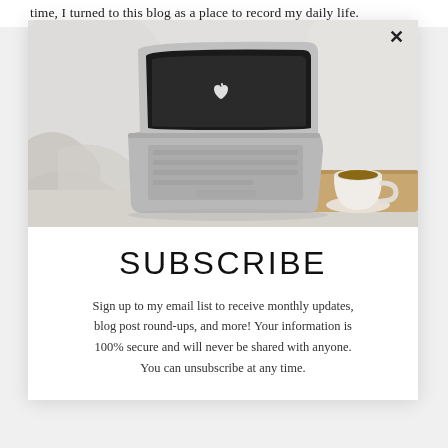time, I turned to this blog as a place to record my daily life.
[Figure (photo): A MacBook laptop open on a bed with white rumpled sheets, with a white coffee cup on a wooden tray beside it. The scene is minimal and cozy.]
SUBSCRIBE
Sign up to my email list to receive monthly updates, blog post round-ups, and more! Your information is 100% secure and will never be shared with anyone. You can unsubscribe at any time.